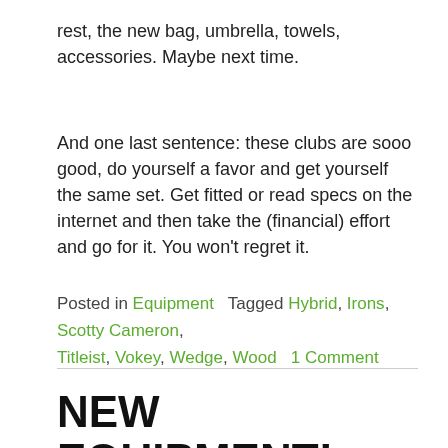rest, the new bag, umbrella, towels, accessories. Maybe next time.
And one last sentence: these clubs are sooo good, do yourself a favor and get yourself the same set. Get fitted or read specs on the internet and then take the (financial) effort and go for it. You won't regret it.
Posted in Equipment   Tagged Hybrid, Irons, Scotty Cameron, Titleist, Vokey, Wedge, Wood   1 Comment
NEW EQUIPMENT! DREAM CLUBS ALL OVER THE PLACE!